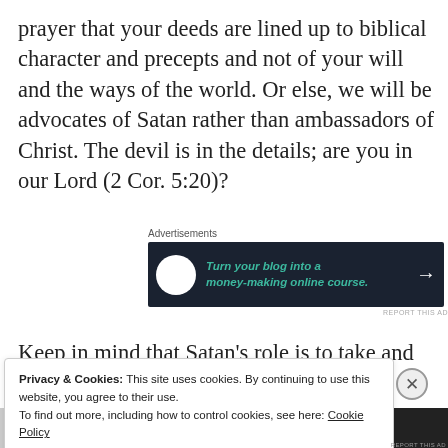prayer that your deeds are lined up to biblical character and precepts and not of your will and the ways of the world. Or else, we will be advocates of Satan rather than ambassadors of Christ. The devil is in the details; are you in our Lord (2 Cor. 5:20)?
[Figure (other): Advertisement banner: dark navy background with white circle tree icon on left, teal italic text 'Turn your blog into a money-making online course.' and white right arrow on right.]
Keep in mind that Satan’s role is to take and
Privacy & Cookies: This site uses cookies. By continuing to use this website, you agree to their use.
To find out more, including how to control cookies, see here: Cookie Policy
[Close and accept button]